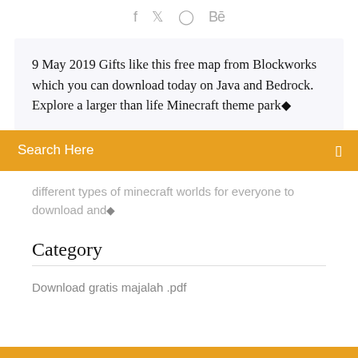f  twitter  dribbble  Be
9 May 2019 Gifts like this free map from Blockworks which you can download today on Java and Bedrock. Explore a larger than life Minecraft theme park◆
Search Here
different types of minecraft worlds for everyone to download and◆
Category
Download gratis majalah .pdf